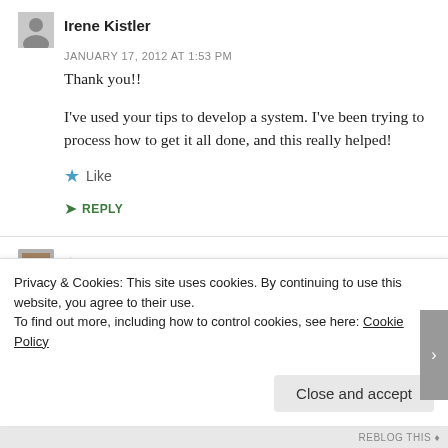Irene Kistler
JANUARY 17, 2012 AT 1:53 PM
Thank you!!
I've used your tips to develop a system. I've been trying to process how to get it all done, and this really helped!
Like
REPLY
thegracefuldoe
Privacy & Cookies: This site uses cookies. By continuing to use this website, you agree to their use.
To find out more, including how to control cookies, see here: Cookie Policy
Close and accept